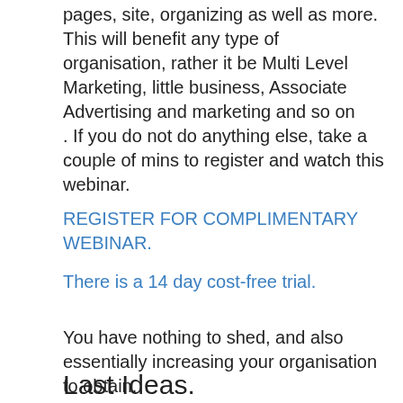pages, site, organizing as well as more. This will benefit any type of organisation, rather it be Multi Level Marketing, little business, Associate Advertising and marketing and so on
. If you do not do anything else, take a couple of mins to register and watch this webinar.
REGISTER FOR COMPLIMENTARY WEBINAR.
There is a 14 day cost-free trial.
You have nothing to shed, and also essentially increasing your organisation to obtain.
Last Ideas.